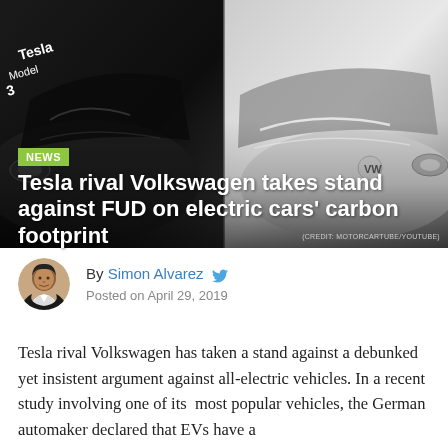[Figure (photo): Split image showing a black Tesla Model 3 on the left and a white Volkswagen electric car on the right, shot from front quarter angle. Credit: MOTORCARTUBE/YOUTUBE]
NEWS
Tesla rival Volkswagen takes stand against FUD on electric cars' carbon footprint
(CREDIT: MOTORCARTUBE/YOUTUBE)
By Simon Alvarez  Posted on April 29, 2019
Tesla rival Volkswagen has taken a stand against a debunked yet insistent argument against all-electric vehicles. In a recent study involving one of its  most popular vehicles, the German automaker declared that EVs have a